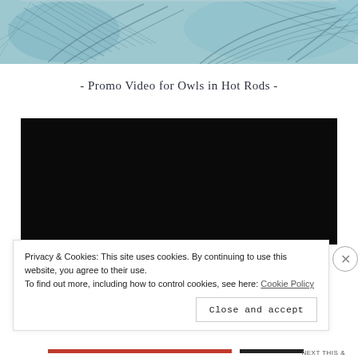[Figure (illustration): Detailed pencil/etching style illustration of bird feathers (owl wings) with blue-teal tint, partially cropped at top of page]
- Promo Video for Owls in Hot Rods -
[Figure (screenshot): Black video player embed area, showing no content (blank/dark screen)]
Privacy & Cookies: This site uses cookies. By continuing to use this website, you agree to their use.
To find out more, including how to control cookies, see here: Cookie Policy
Close and accept